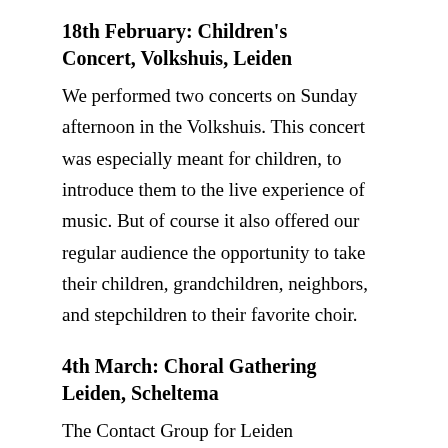18th February: Children's Concert, Volkshuis, Leiden
We performed two concerts on Sunday afternoon in the Volkshuis. This concert was especially meant for children, to introduce them to the live experience of music. But of course it also offered our regular audience the opportunity to take their children, grandchildren, neighbors, and stepchildren to their favorite choir.
4th March: Choral Gathering Leiden, Scheltema
The Contact Group for Leiden